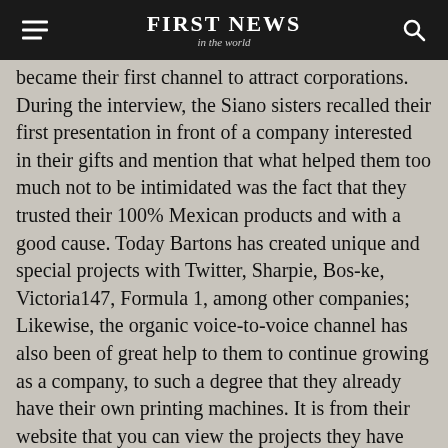FIRST NEWS in the world
became their first channel to attract corporations. During the interview, the Siano sisters recalled their first presentation in front of a company interested in their gifts and mention that what helped them too much not to be intimidated was the fact that they trusted their 100% Mexican products and with a good cause. Today Bartons has created unique and special projects with Twitter, Sharpie, Bos-ke, Victoria147, Formula 1, among other companies; Likewise, the organic voice-to-voice channel has also been of great help to them to continue growing as a company, to such a degree that they already have their own printing machines. It is from their website that you can view the projects they have carried out with these brands, in the case of being interested